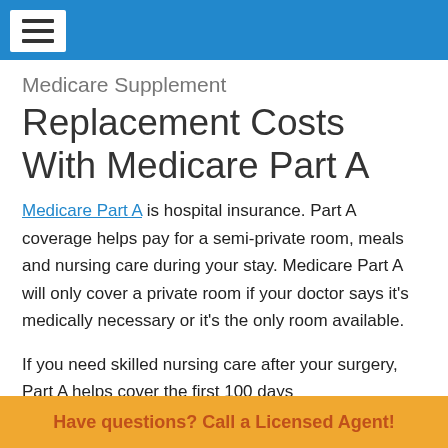Medicare Supplement
Replacement Costs With Medicare Part A
Medicare Part A is hospital insurance. Part A coverage helps pay for a semi-private room, meals and nursing care during your stay. Medicare Part A will only cover a private room if your doctor says it's medically necessary or it's the only room available.
If you need skilled nursing care after your surgery, Part A helps cover the first 100 days
Have questions? Call a Licensed Agent!